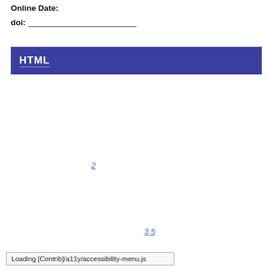Online Date:
doi: ____________________
HTML
2
3 5
Loading [Contrib]/a11y/accessibility-menu.js